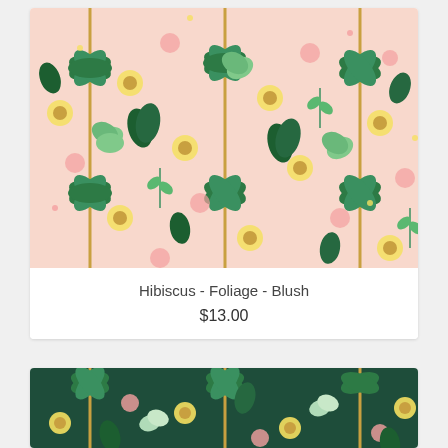[Figure (illustration): Hibiscus Foliage Blush floral pattern fabric swatch — pink background with green tropical leaves, palm trees, and yellow and pink flowers in a dense repeating botanical pattern]
Hibiscus - Foliage - Blush
$13.00
[Figure (illustration): Hibiscus Foliage dark green fabric swatch — dark green background with green and white tropical leaves, palm trees, yellow and pink flowers in a dense repeating botanical pattern]